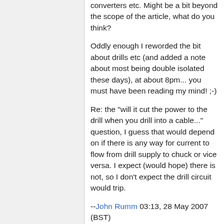converters etc. Might be a bit beyond the scope of the article, what do you think?
Oddly enough I reworded the bit about drills etc (and added a note about most being double isolated these days), at about 8pm... you must have been reading my mind! ;-)
Re: the "will it cut the power to the drill when you drill into a cable..." question, I guess that would depend on if there is any way for current to flow from drill supply to chuck or vice versa. I expect (would hope) there is not, so I don't expect the drill circuit would trip.
--John Rumm 03:13, 28 May 2007 (BST)
Have tried to compact/reformat the what doesnt it do section, hopefully this makes an easier read.